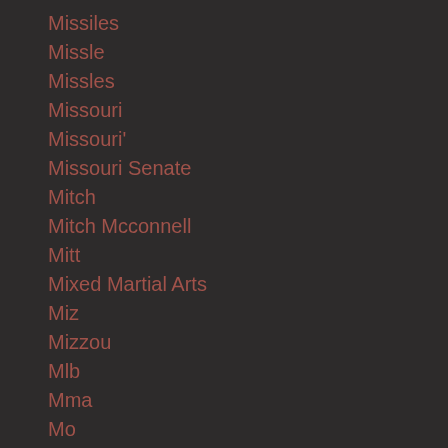Missiles
Missle
Missles
Missouri
Missouri'
Missouri Senate
Mitch
Mitch Mcconnell
Mitt
Mixed Martial Arts
Miz
Mizzou
Mlb
Mma
Mo
MOAB
Mobsters
Moderate
Moderates
Moe Rock